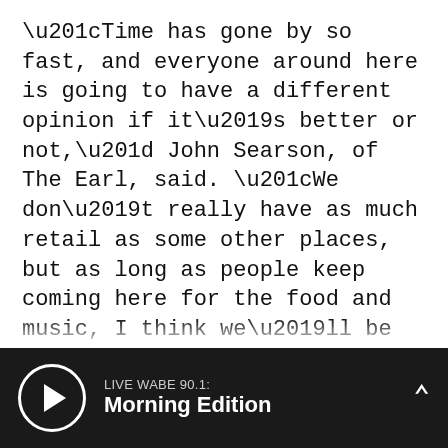“Time has gone by so fast, and everyone around here is going to have a different opinion if it’s better or not,” John Searson, of The Earl, said. “We don’t really have as much retail as some other places, but as long as people keep coming here for the food and music, I think we’ll be OK.”
The large theater has potential for either the arts community or the rapidly encroaching gentrification that so many locals fear will eventually swallow their Village.
While the theater sits empty in the heart of town, apartments and condos spring up on the edges, filling up with new people and attracting potential
LIVE WABE 90.1: Morning Edition